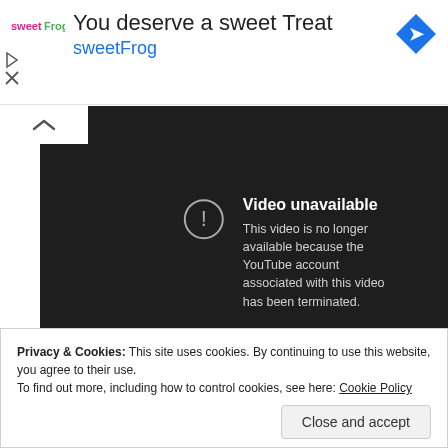[Figure (screenshot): Ad banner with sweetFrog logo, text 'You deserve a sweet Treat', 'sweetFrog' subtitle in blue, and a blue diamond navigation icon]
[Figure (screenshot): YouTube embedded video player showing 'Video unavailable' error message with exclamation icon. Text: 'This video is no longer available because the YouTube account associated with this video has been terminated.']
Privacy & Cookies: This site uses cookies. By continuing to use this website, you agree to their use.
To find out more, including how to control cookies, see here: Cookie Policy
Close and accept